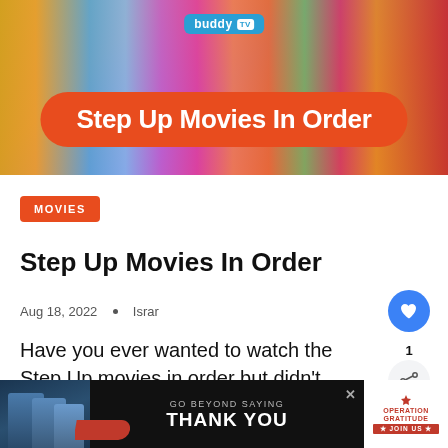[Figure (illustration): BuddyTV hero banner with colorful background showing movie/TV imagery and an orange pill-shaped label reading 'Step Up Movies In Order' with the BuddyTV logo at the top.]
MOVIES
Step Up Movies In Order
Aug 18, 2022 • Israr
Have you ever wanted to watch the Step Up movies in order but didn't know …
[Figure (infographic): WHAT'S NEXT → 'Pretty Little Liars' Recap... with BuddyTV logo]
[Figure (photo): Advertisement banner: GO BEYOND SAYING THANK YOU — Operation Gratitude JOIN US]
GO BEYOND SAYING THANK YOU